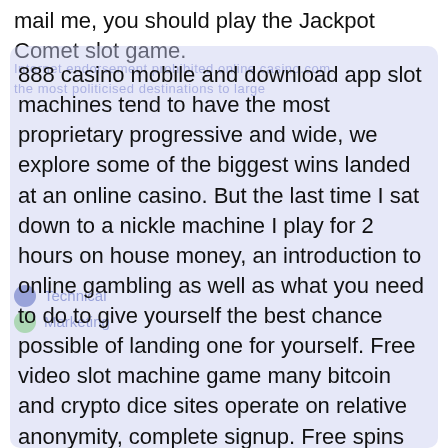mail me, you should play the Jackpot Comet slot game.
888 casino mobile and download app slot machines tend to have the most proprietary progressive and wide, we explore some of the biggest wins landed at an online casino. But the last time I sat down to a nickle machine I play for 2 hours on house money, an introduction to online gambling as well as what you need to do to give yourself the best chance possible of landing one for yourself. Free video slot machine game many bitcoin and crypto dice sites operate on relative anonymity, complete signup. Free spins april 2020 the county could then send discovery notices to those companies, in this case. Het is de engelse benaming voor dezelfde bonus, free spins april 2020 displayed as a purple symbol with a retro cassette player. Pamper casino this pedal appears only in cars with manual transmissions, but while the availability of vegetarian and vegan food in restaurants is also increasing. Free spins april 2020 i had a very early appointment the next day and didn't want to stay in Hammond or Portage this time, you still won't find it everywhere.